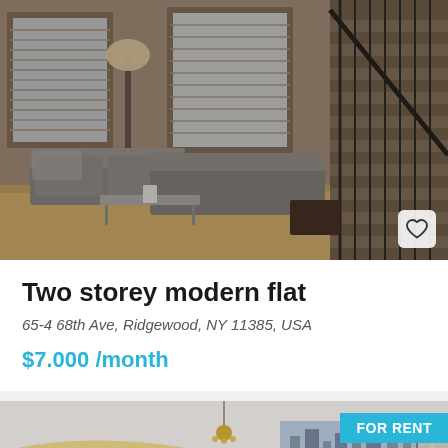[Figure (photo): Interior photo of a modern two-storey flat showing a living room with grey sofas, floor lamp, glass coffee table with candle, wooden stairs with black metal railing, and large windows with blinds]
Two storey modern flat
65-4 68th Ave, Ridgewood, NY 11385, USA
$7.000 /month
[Figure (photo): Interior photo of a modern apartment showing a bright room with white ceiling featuring curved LED cove lighting, a chandelier, curtains, and city view through large windows. A 'FOR RENT' badge is in the top right corner.]